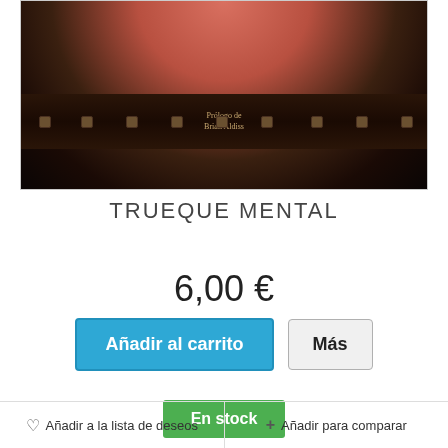[Figure (photo): Book cover photo showing a rounded top with reddish-brown skin-like texture, and a dark metal band with rivets across the middle. Small text reads 'Prólogo de Brian Aldiss'.]
TRUEQUE MENTAL
6,00 €
Añadir al carrito
Más
En stock
♡ Añadir a la lista de deseos  + Añadir para comparar